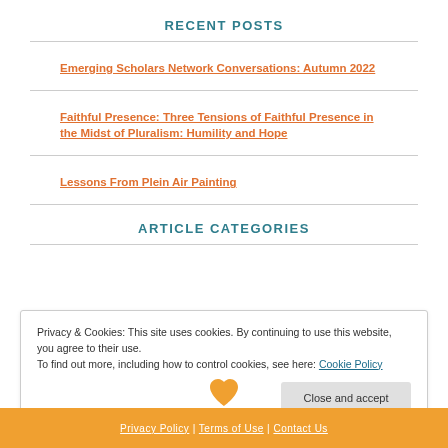RECENT POSTS
Emerging Scholars Network Conversations: Autumn 2022
Faithful Presence: Three Tensions of Faithful Presence in the Midst of Pluralism: Humility and Hope
Lessons From Plein Air Painting
ARTICLE CATEGORIES
Privacy & Cookies: This site uses cookies. By continuing to use this website, you agree to their use. To find out more, including how to control cookies, see here: Cookie Policy
Close and accept
Privacy Policy | Terms of Use | Contact Us